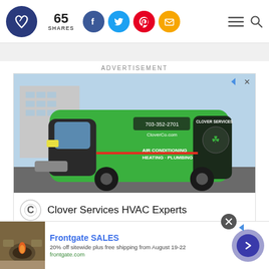[Figure (logo): Dark blue circular logo with a heart/ribbon design inside]
65 SHARES
[Figure (infographic): Social share buttons: Facebook (blue circle), Twitter (light blue circle), Pinterest (red circle), Email (yellow/gold circle)]
[Figure (infographic): Hamburger menu icon and search icon on the right side of header]
ADVERTISEMENT
[Figure (photo): Advertisement photo of a green Clover Services HVAC van with text '703-352-2701, CloverCo.com, AIR CONDITIONING HEATING & PLUMBING, CLOVER SERVICES']
Clover Services HVAC Experts
[Figure (photo): Bottom banner ad showing outdoor furniture/fire pit from Frontgate]
Frontgate SALES
20% off sitewide plus free shipping from August 19-22
frontgate.com